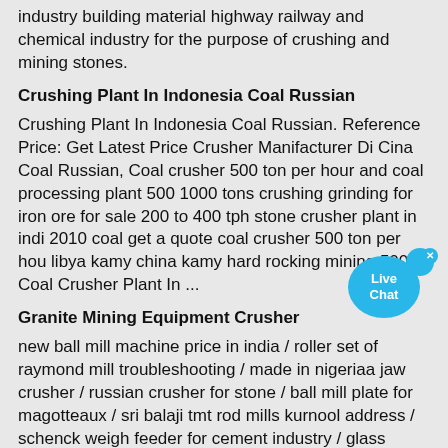industry building material highway railway and chemical industry for the purpose of crushing and mining stones.
Crushing Plant In Indonesia Coal Russian
Crushing Plant In Indonesia Coal Russian. Reference Price: Get Latest Price Crusher Manifacturer Di Cina Coal Russian, Coal crusher 500 ton per hour and coal processing plant 500 1000 tons crushing grinding for iron ore for sale 200 to 400 tph stone crusher plant in indi 2010 coal get a quote coal crusher 500 ton per hou libya kamy china kamy hard rocking mining 500 t Coal Crusher Plant In ...
Granite Mining Equipment Crusher
new ball mill machine price in india / roller set of raymond mill troubleshooting / made in nigeriaa jaw crusher / russian crusher for stone / ball mill plate for magotteaux / sri balaji tmt rod mills kurnool address / schenck weigh feeder for cement industry / glass crusher to make sand / stone crusher plant capacity in indiastone crusher ...
india 100 tph stone crushing plant for aggregates of ...
The overall technology of the VSI6X vertical shaft impact crusher project has reached the international advanced level... 13-01-2020. Recently, it was jointly established by the China Machinery Industry Federation and the China Society of Mechanical Engineering, and a comprehensive science and technology award for the national machinery industry, the China Machinery Industry Science and ...
[Figure (other): Live Chat bubble button — a cyan circular chat widget with 'Live Chat' text and a close X button]